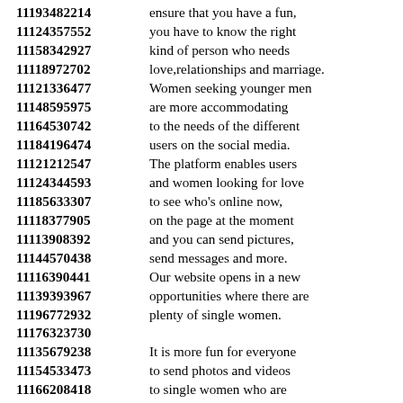11193482214 ensure that you have a fun,
11124357552 you have to know the right
11158342927 kind of person who needs
11118972702 love,relationships and marriage.
11121336477 Women seeking younger men
11148595975 are more accommodating
11164530742 to the needs of the different
11184196474 users on the social media.
11121212547 The platform enables users
11124344593 and women looking for love
11185633307 to see who's online now,
11118377905 on the page at the moment
11113908392 and you can send pictures,
11144570438 send messages and more.
11116390441 Our website opens in a new
11139393967 opportunities where there are
11196772932 plenty of single women.
11176323730
11135679238 It is more fun for everyone
11154533473 to send photos and videos
11166208418 to single women who are
11137142545 the users in the system.
11168665591 You are free to decide on
11186281578 women looking for a date
11175908219 choose based on who